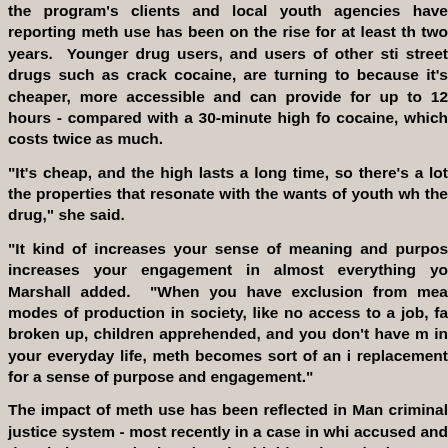the program's clients and local youth agencies have reporting meth use has been on the rise for at least two years. Younger drug users, and users of other stimulant street drugs such as crack cocaine, are turning to it because it's cheaper, more accessible and can provide a high for up to 12 hours - compared with a 30-minute high for cocaine, which costs twice as much.
"It's cheap, and the high lasts a long time, so there's a lot of the properties that resonate with the wants of youth who use the drug," she said.
"It kind of increases your sense of meaning and purpose, increases your engagement in almost everything you do," Marshall added. "When you have exclusion from meaningful modes of production in society, like no access to a job, family broken up, children apprehended, and you don't have meaning in your everyday life, meth becomes sort of an instant replacement for a sense of purpose and engagement."
The impact of meth use has been reflected in Manitoba's criminal justice system - most recently in a case in which the accused and the victim were both using the highly addictive synthetic street drug.
A 39-year-old man who has addiction as a result of